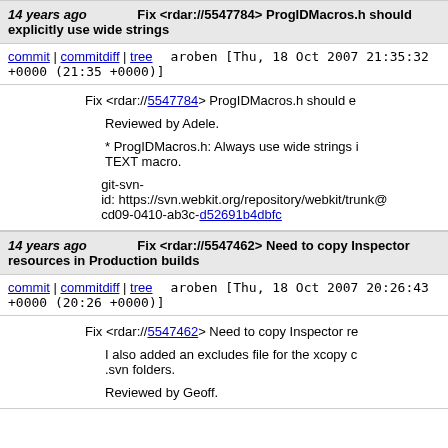14 years ago    Fix <rdar://5547784> ProgIDMacros.h should explicitly use wide strings
commit | commitdiff | tree    aroben [Thu, 18 Oct 2007 21:35:32 +0000 (21:35 +0000)]
Fix <rdar://5547784> ProgIDMacros.h should e

Reviewed by Adele.

* ProgIDMacros.h: Always use wide strings i TEXT macro.

git-svn-id: https://svn.webkit.org/repository/webkit/trunk@ cd09-0410-ab3c-d52691b4dbfc
14 years ago    Fix <rdar://5547462> Need to copy Inspector resources in Production builds
commit | commitdiff | tree    aroben [Thu, 18 Oct 2007 20:26:43 +0000 (20:26 +0000)]
Fix <rdar://5547462> Need to copy Inspector re

I also added an excludes file for the xcopy c .svn folders.

Reviewed by Geoff.